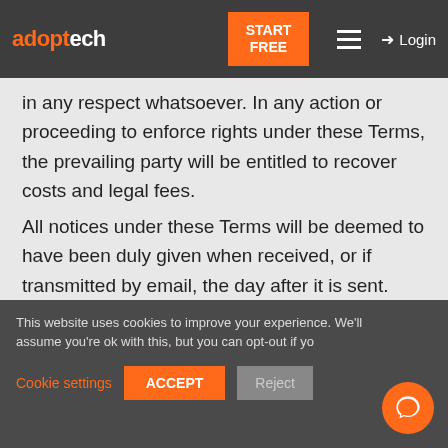adoptech | START FREE | Login
in any respect whatsoever. In any action or proceeding to enforce rights under these Terms, the prevailing party will be entitled to recover costs and legal fees. All notices under these Terms will be deemed to have been duly given when received, or if transmitted by email, the day after it is sent. Our agreement under these Terms will be governed by the laws of England and Wales and we both agree to the exclusive jurisdiction of the courts of England and Wal...
This website uses cookies to improve your experience. We'll assume you're ok with this, but you can opt-out if you